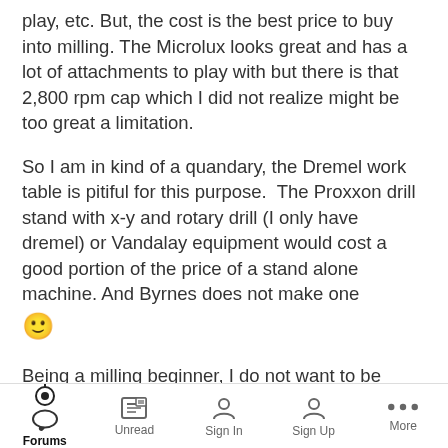play, etc. But, the cost is the best price to buy into milling. The Microlux looks great and has a lot of attachments to play with but there is that 2,800 rpm cap which I did not realize might be too great a limitation.
So I am in kind of a quandary, the Dremel work table is pitiful for this purpose.  The Proxxon drill stand with x-y and rotary drill (I only have dremel) or Vandalay equipment would cost a good portion of the price of a stand alone machine. And Byrnes does not make one 🙂
Being a milling beginner, I do not want to be disappointed problems with the equipment itself while learning
Forums | Unread | Sign In | Sign Up | More